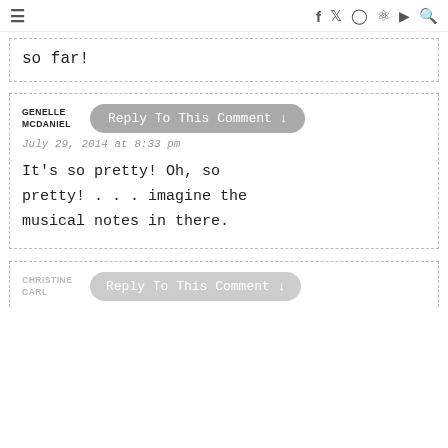≡  f  t  ◎  ⊕  ▶  ⌕
so far!
GENELLE MCDANIEL
Reply To This Comment ↓
July 29, 2014 at 8:33 pm
It's so pretty! Oh, so pretty! . . . imagine the musical notes in there.
CHRISTINE CARL
Reply To This Comment ↓